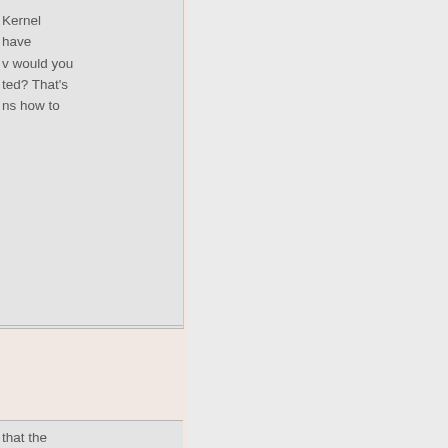Kernel have w would you ted? That's ns how to
that the Ubiquity artin nonical, is
that can l from the some time ble the Dart ng the time
good time to